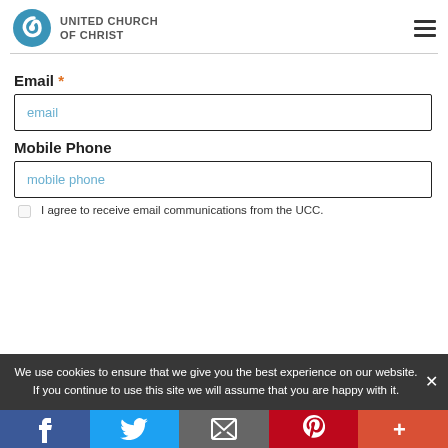United Church of Christ
Email *
email
Mobile Phone
mobile phone
I agree to receive email communications from the UCC.
We use cookies to ensure that we give you the best experience on our website. If you continue to use this site we will assume that you are happy with it.